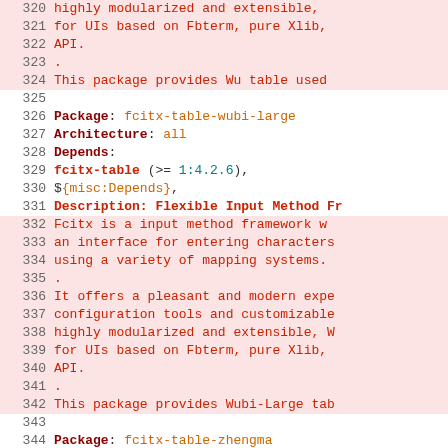Code listing showing Debian package metadata for fcitx-table-wubi-large and fcitx-table-zhengma packages, lines 320-349+
320: highly modularized and extensible,
321:  for UIs based on Fbterm, pure Xlib,
322:  API.
323:  .
324:  This package provides Wu table used
325: (blank)
326: Package: fcitx-table-wubi-large
327: Architecture: all
328: Depends:
329:  fcitx-table (>= 1:4.2.6),
330:  ${misc:Depends},
331: Description: Flexible Input Method Fr
332:  Fcitx is a input method framework w
333:  an interface for entering characters
334:  using a variety of mapping systems.
335:  .
336:  It offers a pleasant and modern expe
337:  configuration tools and customizable
338:  highly modularized and extensible, W
339:  for UIs based on Fbterm, pure Xlib,
340:  API.
341:  .
342:  This package provides Wubi-Large tab
343: (blank)
344: Package: fcitx-table-zhengma
345: Architecture: all
346: Depends:
347:  fcitx-table (>= 1:4.2.6),
348:  ${misc:Depends},
349: Description: Flexible Input Method Fr